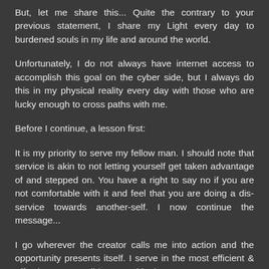But, let me share this... Quite the contrary to your previous statement, I share my Light every day to burdened souls in my life and around the world.
Unfortunately, I do not always have internet access to accomplish this goal on the cyber side, but I always do this in my physical reality every day with those who are lucky enough to cross paths with me.
Before I continue, a lesson first:
It is my priority to serve my fellow man. I should note that service is akin to not letting yourself get taken advantage of and stepped on. You have a right to say no if you are not comfortable with it and feel that you are doing a dis-service towards another-self. I now continue the message...
I go wherever the creator calls me into action and the opportunity presents itself. I serve in the most efficient & effective way possible to provide the